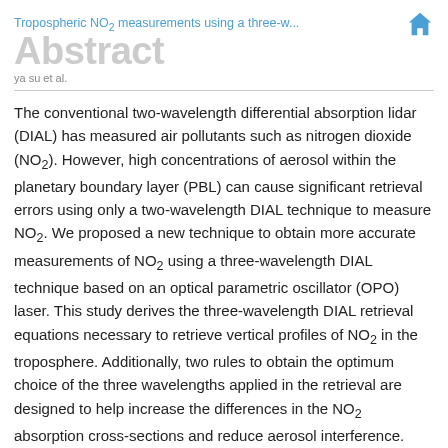Tropospheric NO2 measurements using a three-w...
Abstract
ya su et al.
The conventional two-wavelength differential absorption lidar (DIAL) has measured air pollutants such as nitrogen dioxide (NO2). However, high concentrations of aerosol within the planetary boundary layer (PBL) can cause significant retrieval errors using only a two-wavelength DIAL technique to measure NO2. We proposed a new technique to obtain more accurate measurements of NO2 using a three-wavelength DIAL technique based on an optical parametric oscillator (OPO) laser. This study derives the three-wavelength DIAL retrieval equations necessary to retrieve vertical profiles of NO2 in the troposphere. Additionally, two rules to obtain the optimum choice of the three wavelengths applied in the retrieval are designed to help increase the differences in the NO2 absorption cross-sections and reduce aerosol interference. NO2 retrieval relative uncertainties